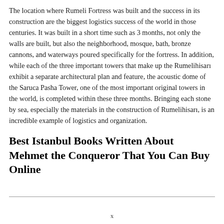The location where Rumeli Fortress was built and the success in its construction are the biggest logistics success of the world in those centuries. It was built in a short time such as 3 months, not only the walls are built, but also the neighborhood, mosque, bath, bronze cannons, and waterways poured specifically for the fortress. In addition, while each of the three important towers that make up the Rumelihisarı exhibit a separate architectural plan and feature, the acoustic dome of the Saruca Pasha Tower, one of the most important original towers in the world, is completed within these three months. Bringing each stone by sea, especially the materials in the construction of Rumelihisarı, is an incredible example of logistics and organization.
Best Istanbul Books Written About Mehmet the Conqueror That You Can Buy Online
x